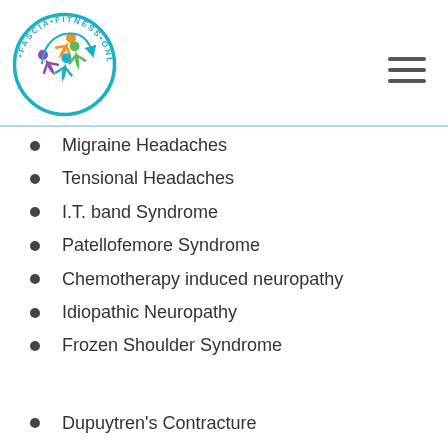[Figure (logo): Fascia Fitness Online circular logo with colorful figures and teal border text]
Migraine Headaches
Tensional Headaches
I.T. band Syndrome
Patellofemore Syndrome
Chemotherapy induced neuropathy
Idiopathic Neuropathy
Frozen Shoulder Syndrome
Dupuytren's Contracture
DeQuervain's Syndrome
Diabetic Foot